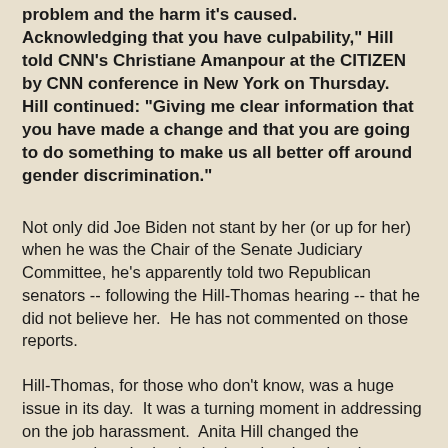problem and the harm it's caused. Acknowledging that you have culpability," Hill told CNN's Christiane Amanpour at the CITIZEN by CNN conference in New York on Thursday. Hill continued: "Giving me clear information that you have made a change and that you are going to do something to make us all better off around gender discrimination."
Not only did Joe Biden not stant by her (or up for her) when he was the Chair of the Senate Judiciary Committee, he's apparently told two Republican senators -- following the Hill-Thomas hearing -- that he did not believe her.  He has not commented on those reports.
Hill-Thomas, for those who don't know, was a huge issue in its day.  It was a turning moment in addressing on the job harassment.  Anita Hill changed the conversation.  It also had a hugely educational function.  First of all, it demonstrated a lesson that news outlets still can't grasp.  You don't win at the end of the week.  People -- especially